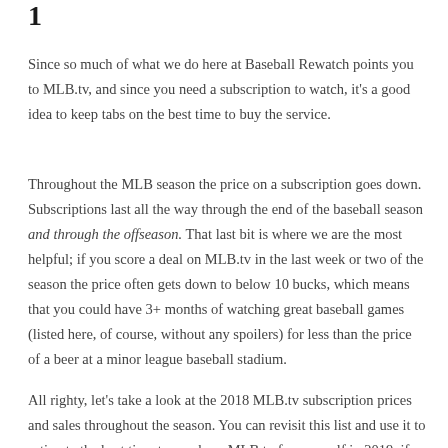1
Since so much of what we do here at Baseball Rewatch points you to MLB.tv, and since you need a subscription to watch, it's a good idea to keep tabs on the best time to buy the service.
Throughout the MLB season the price on a subscription goes down. Subscriptions last all the way through the end of the baseball season and through the offseason. That last bit is where we are the most helpful; if you score a deal on MLB.tv in the last week or two of the season the price often gets down to below 10 bucks, which means that you could have 3+ months of watching great baseball games (listed here, of course, without any spoilers) for less than the price of a beer at a minor league baseball stadium.
All righty, let's take a look at the 2018 MLB.tv subscription prices and sales throughout the season. You can revisit this list and use it to estimate the best time to purchase MLB.tv for yourself in 2019, if you